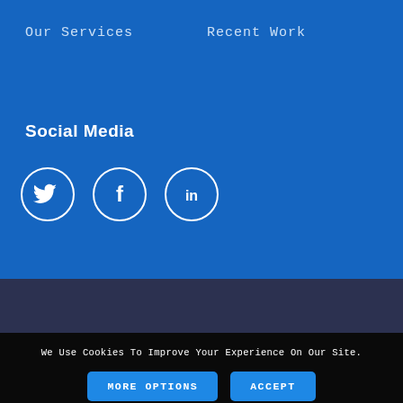Our Services
Recent Work
Social Media
[Figure (illustration): Three social media icon circles: Twitter bird icon, Facebook 'f' icon, LinkedIn 'in' icon, all outlined in white on a blue background.]
We Use Cookies To Improve Your Experience On Our Site.
MORE OPTIONS
ACCEPT